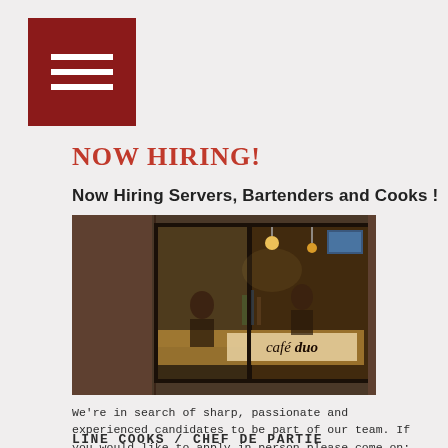[Figure (logo): Red square button with three horizontal white lines (hamburger menu icon)]
NOW HIRING!
Now Hiring Servers, Bartenders and Cooks !
[Figure (photo): Interior photo of Café Duo bar/restaurant showing bar counter with patrons, pendant lights, brick wall, and the Café duo sign visible through large windows]
We're in search of sharp, passionate and experienced candidates to be part of our team. If you would like to apply in person please come on: Tuesday, Wednesday, Thursday or Friday 10:30am-11:00am or 4:00-4:30pm.
LINE COOKS / CHEF DE PARTIE